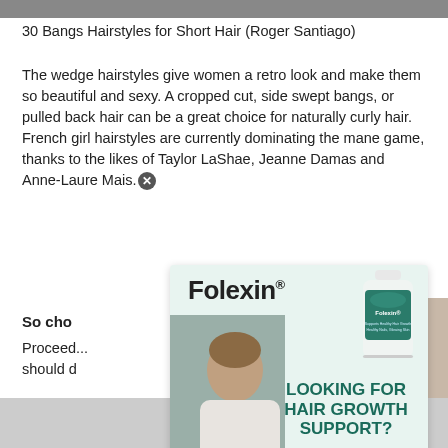[Figure (photo): Gray image strip at top of page]
30 Bangs Hairstyles for Short Hair (Roger Santiago)
The wedge hairstyles give women a retro look and make them so beautiful and sexy. A cropped cut, side swept bangs, or pulled back hair can be a great choice for naturally curly hair. French girl hairstyles are currently dominating the mane game, thanks to the likes of Taylor LaShae, Jeanne Damas and Anne-Laure Mais.
So cho...
Proceed... and should d...
[Figure (photo): Bottom thumbnail image strip partially visible]
[Figure (advertisement): Folexin hair growth supplement advertisement with man touching his hair, a supplement bottle, bold green text reading LOOKING FOR HAIR GROWTH SUPPORT? and a yellow Click Here button]